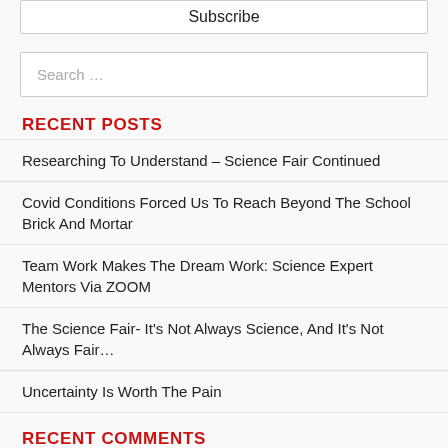Subscribe
Search …
RECENT POSTS
Researching To Understand – Science Fair Continued
Covid Conditions Forced Us To Reach Beyond The School Brick And Mortar
Team Work Makes The Dream Work: Science Expert Mentors Via ZOOM
The Science Fair- It's Not Always Science, And It's Not Always Fair…
Uncertainty Is Worth The Pain
RECENT COMMENTS